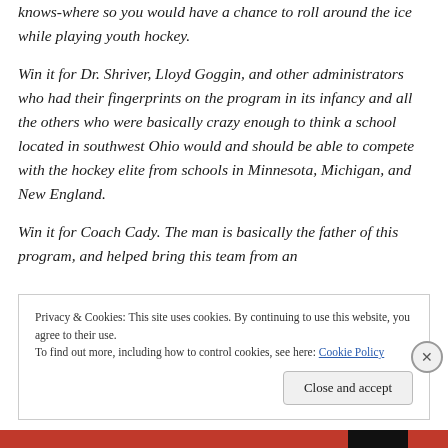knows-where so you would have a chance to roll around the ice while playing youth hockey.
Win it for Dr. Shriver, Lloyd Goggin, and other administrators who had their fingerprints on the program in its infancy and all the others who were basically crazy enough to think a school located in southwest Ohio would and should be able to compete with the hockey elite from schools in Minnesota, Michigan, and New England.
Win it for Coach Cady. The man is basically the father of this program, and helped bring this team from an
Privacy & Cookies: This site uses cookies. By continuing to use this website, you agree to their use.
To find out more, including how to control cookies, see here: Cookie Policy
Close and accept